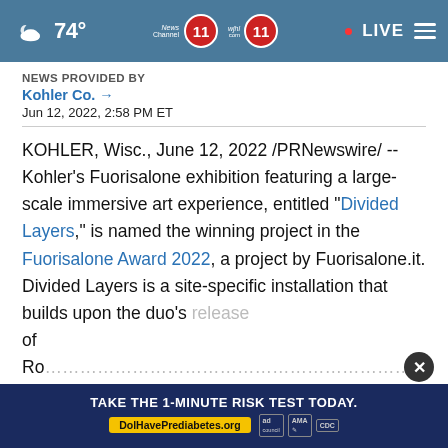74° | News Channel 11 wjhl.com 11 | LIVE
NEWS PROVIDED BY
Kohler Co. →
Jun 12, 2022, 2:58 PM ET
KOHLER, Wisc., June 12, 2022 /PRNewswire/ -- Kohler's Fuorisalone exhibition featuring a large-scale immersive art experience, entitled "Divided Layers," is named the winning project in the Fuorisalone Award 2022, a project by Fuorisalone.it. Divided Layers is a site-specific installation that builds upon the duo's release of Ro…n
[Figure (screenshot): Advertisement banner: TAKE THE 1-MINUTE RISK TEST TODAY. DolHavePrediabetes.org with ad council, AMA, and CDC logos]